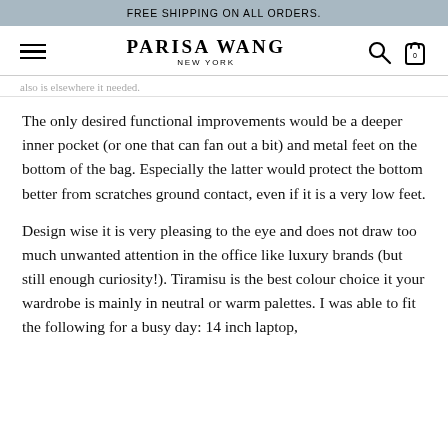FREE SHIPPING ON ALL ORDERS.
PARISA WANG NEW YORK
The only desired functional improvements would be a deeper inner pocket (or one that can fan out a bit) and metal feet on the bottom of the bag. Especially the latter would protect the bottom better from scratches ground contact, even if it is a very low feet.
Design wise it is very pleasing to the eye and does not draw too much unwanted attention in the office like luxury brands (but still enough curiosity!). Tiramisu is the best colour choice it your wardrobe is mainly in neutral or warm palettes. I was able to fit the following for a busy day: 14 inch laptop,